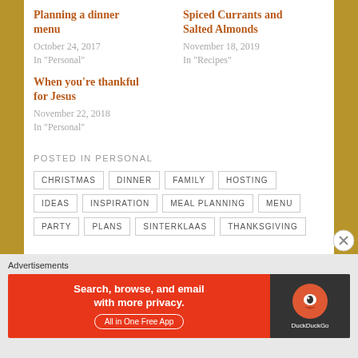Planning a dinner menu
October 24, 2017
In "Personal"
Spiced Currants and Salted Almonds
November 18, 2019
In "Recipes"
When you're thankful for Jesus
November 22, 2018
In "Personal"
POSTED IN PERSONAL
CHRISTMAS
DINNER
FAMILY
HOSTING
IDEAS
INSPIRATION
MEAL PLANNING
MENU
PARTY
PLANS
SINTERKLAAS
THANKSGIVING
Advertisements
[Figure (screenshot): DuckDuckGo advertisement banner: Search, browse, and email with more privacy. All in One Free App]